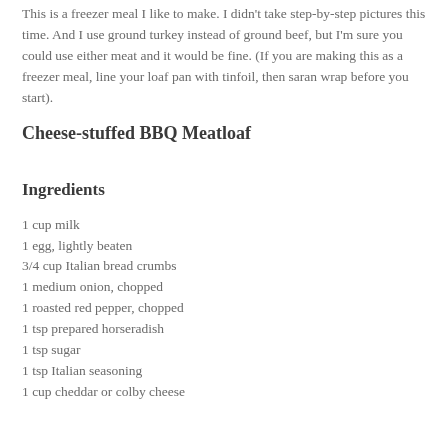This is a freezer meal I like to make. I didn't take step-by-step pictures this time. And I use ground turkey instead of ground beef, but I'm sure you could use either meat and it would be fine. (If you are making this as a freezer meal, line your loaf pan with tinfoil, then saran wrap before you start).
Cheese-stuffed BBQ Meatloaf
Ingredients
1 cup milk
1 egg, lightly beaten
3/4 cup Italian bread crumbs
1 medium onion, chopped
1 roasted red pepper, chopped
1 tsp prepared horseradish
1 tsp sugar
1 tsp Italian seasoning
1 cup cheddar or colby cheese